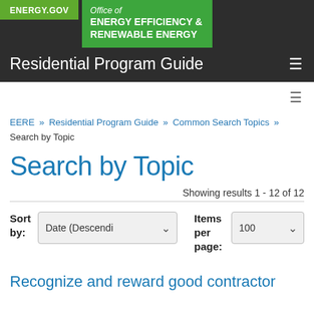ENERGY.GOV — Office of ENERGY EFFICIENCY & RENEWABLE ENERGY — Residential Program Guide
EERE » Residential Program Guide » Common Search Topics » Search by Topic
Search by Topic
Showing results 1 - 12 of 12
Sort by: Date (Descendi ▾    Items per page: 100 ▾
Recognize and reward good contractor